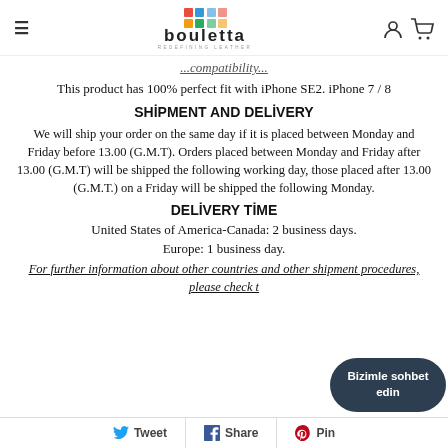bouletta REDEFINING LEATHER
...Compatibility...
This product has 100% perfect fit with iPhone SE2. iPhone 7 / 8
SHIPMENT AND DELIVERY
We will ship your order on the same day if it is placed between Monday and Friday before 13.00 (G.M.T). Orders placed between Monday and Friday after 13.00 (G.M.T) will be shipped the following working day, those placed after 13.00 (G.M.T.) on a Friday will be shipped the following Monday.
DELIVERY TIME
United States of America-Canada: 2 business days.
Europe: 1 business day.
For further information about other countries and other shipment procedures, please check t...
Bizimle sohbet edin
Tweet  Share  Pin